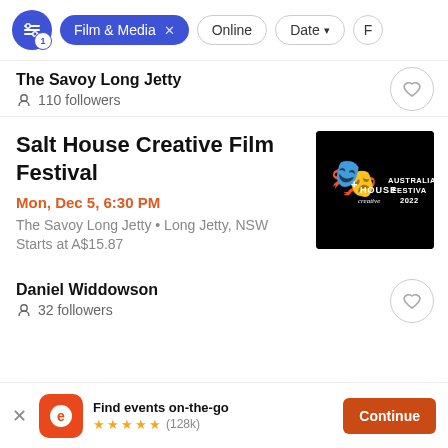[Figure (screenshot): Filter bar with active Film & Media filter pill, Online and Date filter options]
The Savoy Long Jetty
110 followers
Salt House Creative Film Festival
Mon, Dec 5, 6:30 PM
The Savoy Long Jetty • Long Jetty, NSW
Starts at A$15.87
[Figure (logo): Salt House Creative Australian Festival 2022 logo on black background]
Daniel Widdowson
32 followers
Find events on-the-go
★★★★★ (128k)
Continue